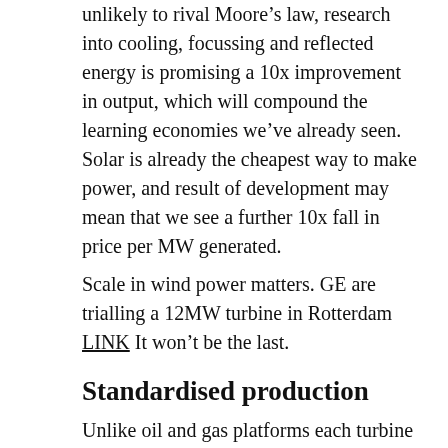unlikely to rival Moore’s law, research into cooling, focussing and reflected energy is promising a 10x improvement in output, which will compound the learning economies we’ve already seen. Solar is already the cheapest way to make power, and result of development may mean that we see a further 10x fall in price per MW generated.
Scale in wind power matters. GE are trialling a 12MW turbine in Rotterdam LINK It won’t be the last.
Standardised production
Unlike oil and gas platforms each turbine is essentially the same as the last one. There is no top-side processing to be designed and no process modification during its life. Wind has already